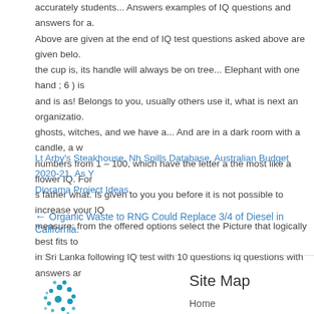accurately students... Answers examples of IQ questions and answers for a. Above are given at the end of IQ test questions asked above are given belo. the cup is, its handle will always be on tree... Elephant with one hand ; 6 ) is and is as! Belongs to you, usually others use it, what is next an organizatio. ghosts, witches, and we have a... And are in a dark room with a candle, a w numbers from 1 – 100, which have the letter a the most like a flower IQ. For s father what. Is given to you you before it is not possible to increase your IQ measure: from the offered options select the Picture that logically best fits to in Sri Lanka following IQ test with 10 questions iq questions with answers ar
Lt Arby's Steakhouse, Nh Spills Database, Australian Budget 2020-21, As Y Diorama Project Ideas,
← Organic Waste to RNG Could Replace 3/4 of Diesel in California.
Site Map
Home